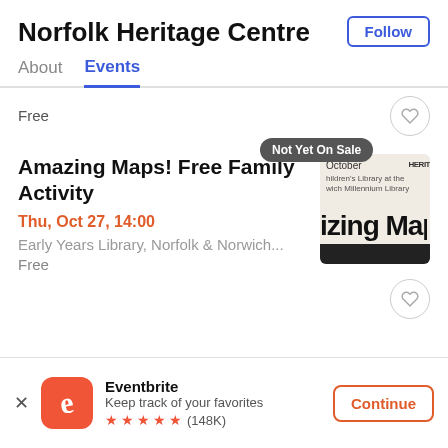Norfolk Heritage Centre
About  Events
Free
Amazing Maps! Free Family Activity
Thu, Oct 27, 14:00
Early Years Library, Norfolk & Norwich...
Free
[Figure (screenshot): Partial thumbnail of event flyer showing 'October', 'HERITAGE', 'Children's Library at the Norwich Millennium Library', 'zing Ma' large text, and a dark bar at the bottom. Badge overlay reading 'Not Yet On Sale'.]
Eventbrite
Keep track of your favorites
★★★★★ (148K)